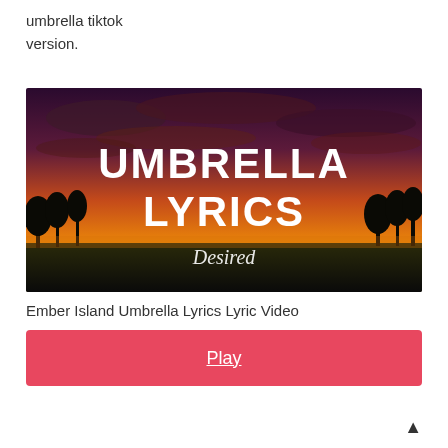umbrella tiktok version.
[Figure (screenshot): Thumbnail image showing a dramatic sunset sky in orange and red tones with silhouetted trees. Bold white text reads 'UMBRELLA LYRICS' and a script logo reads 'Desired' at the bottom center.]
Ember Island Umbrella Lyrics Lyric Video
Play